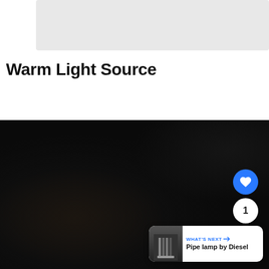[Figure (photo): Thumbnail image placeholder at top, light grey rectangle]
Warm Light Source
[Figure (photo): Dark, nearly black photograph of a surface with subtle texture and warm light gradient, occupying the lower two-thirds of the page]
[Figure (other): Blue circular heart/like button icon]
1
[Figure (other): Dark circular share button icon]
WHAT'S NEXT → Pipe lamp by Diesel